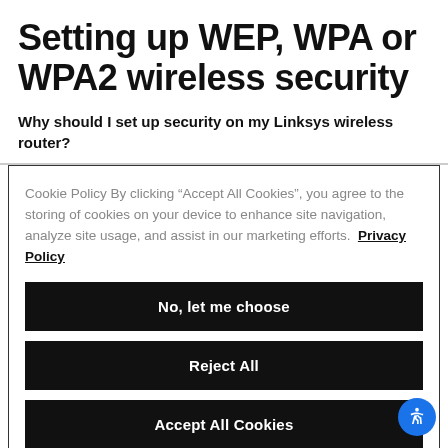Setting up WEP, WPA or WPA2 wireless security
Why should I set up security on my Linksys wireless router?
Cookie Policy By clicking “Accept All Cookies”, you agree to the storing of cookies on your device to enhance site navigation, analyze site usage, and assist in our marketing efforts. Privacy Policy
No, let me choose
Reject All
Accept All Cookies